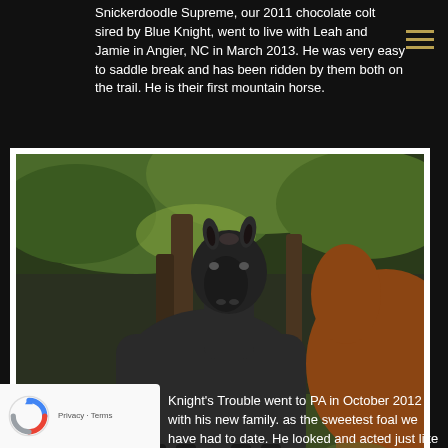Snickerdoodle Supreme, our 2011 chocolate colt sired by Blue Knight, went to live with Leah and Jamie in Angier, NC in March 2013. He was very easy to saddle break and has been ridden by them both on the trail. He is their first mountain horse.
[Figure (photo): A young dark foal standing next to a chestnut/bay adult horse, in a green outdoor setting with trees in the background. The foal faces the camera directly.]
Knight's Trouble went to PA in October 2012 with his new family. as the sweetest foal we have had to date. He looked and acted just like his sire, Blue Knight, and dam is Little Mischevious Baby